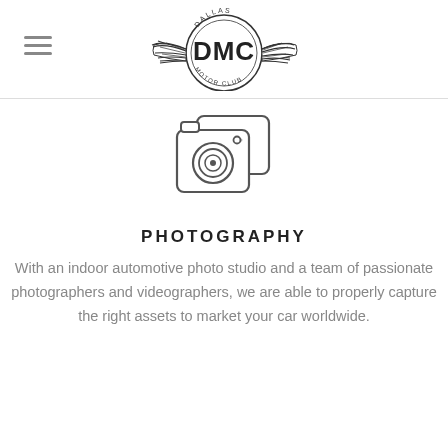[Figure (logo): Dallas Motor Club (DMC) logo with wings and circular badge]
[Figure (illustration): Camera icon outline — two overlapping rectangular camera shapes with lens and viewfinder details]
PHOTOGRAPHY
With an indoor automotive photo studio and a team of passionate photographers and videographers, we are able to properly capture the right assets to market your car worldwide.